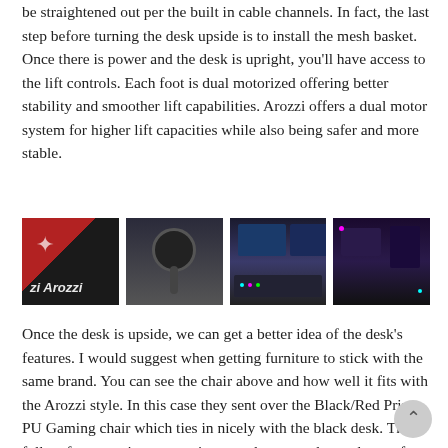be straightened out per the built in cable channels. In fact, the last step before turning the desk upside is to install the mesh basket. Once there is power and the desk is upright, you'll have access to the lift controls. Each foot is dual motorized offering better stability and smoother lift capabilities. Arozzi offers a dual motor system for higher lift capacities while also being safer and more stable.
[Figure (photo): Four photos side by side: Arozzi branded chair/desk product in black and red, a gaming headset on a stand, a gaming desk setup with monitors and RGB lighting, and a gaming room setup with RGB lighting and a computer.]
Once the desk is upside, we can get a better idea of the desk's features. I would suggest when getting furniture to stick with the same brand. You can see the chair above and how well it fits with the Arozzi style. In this case they sent over the Black/Red Primo PU Gaming chair which ties in nicely with the black desk. The full surface matt is water resistant and easy to clean, plenty of room for